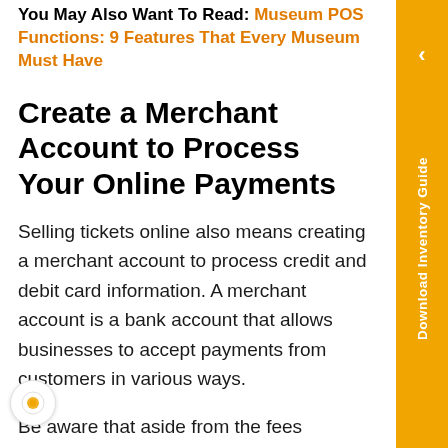You May Also Want To Read: Museum POS Functions: 9 Features That Every Museum Must Have
Create a Merchant Account to Process Your Online Payments
Selling tickets online also means creating a merchant account to process credit and debit card information. A merchant account is a bank account that allows businesses to accept payments from customers in various ways.
Be aware that aside from the fees charged by the ticketing platform, merchant